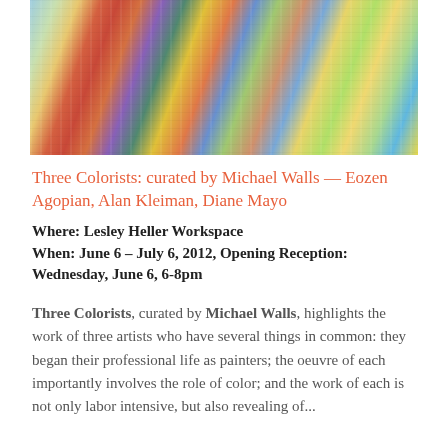[Figure (photo): Colorful abstract artwork featuring vertical streaks and patterns in red, blue, green, yellow, purple, and other vivid colors with painted gestural marks]
Three Colorists: curated by Michael Walls — Eozen Agopian, Alan Kleiman, Diane Mayo
Where: Lesley Heller Workspace
When: June 6 – July 6, 2012, Opening Reception: Wednesday, June 6, 6-8pm
Three Colorists, curated by Michael Walls, highlights the work of three artists who have several things in common: they began their professional life as painters; the oeuvre of each importantly involves the role of color; and the work of each is not only labor intensive, but also revealing of...